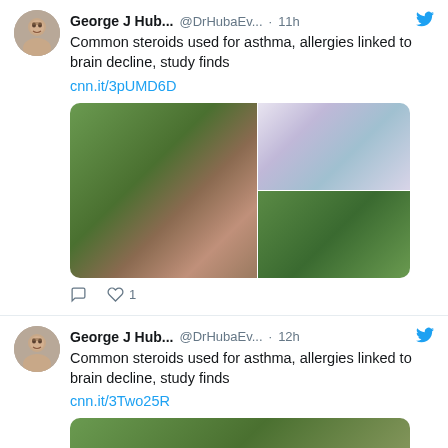[Figure (screenshot): Twitter/X tweet by George J Hub... (@DrHubaEv...) posted 11h ago about common steroids linked to brain decline, with link cnn.it/3pUMD6D and a 3-photo collage (person lying on grass, purple inhaler, flowering plant)]
[Figure (screenshot): Twitter/X tweet by George J Hub... (@DrHubaEv...) posted 12h ago about common steroids linked to brain decline, with link cnn.it/3Two25R and a partial photo of green outdoor scene]